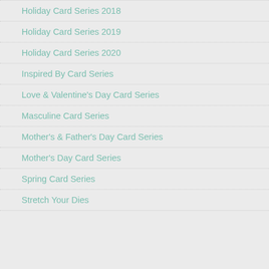Holiday Card Series 2018
Holiday Card Series 2019
Holiday Card Series 2020
Inspired By Card Series
Love & Valentine's Day Card Series
Masculine Card Series
Mother's & Father's Day Card Series
Mother's Day Card Series
Spring Card Series
Stretch Your Dies